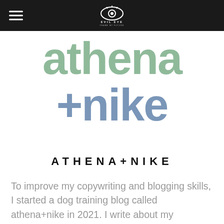Evil Eye — navigation bar with hamburger menu and logo
athena
+nike
ATHENA+NIKE
To improve my copywriting and blogging skills, I started a dog training blog called athena+nike in 2021. I write about my experience raising my two